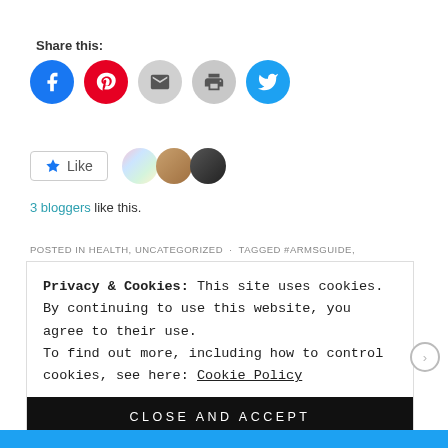Share this:
[Figure (infographic): Social share buttons: Facebook (blue circle), Pinterest (red circle), Email (grey circle), Print (grey circle), Twitter (blue circle)]
[Figure (infographic): Like button with star icon and 3 blogger avatars. Text: 3 bloggers like this.]
3 bloggers like this.
POSTED IN HEALTH, UNCATEGORIZED · TAGGED #ARMSGUIDE,
Privacy & Cookies: This site uses cookies. By continuing to use this website, you agree to their use. To find out more, including how to control cookies, see here: Cookie Policy
CLOSE AND ACCEPT